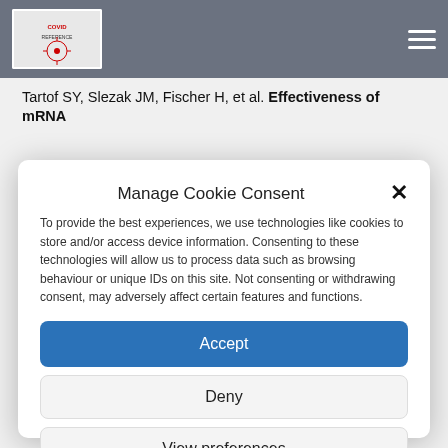COVID Reference — navigation header with logo and hamburger menu
Tartof SY, Slezak JM, Fischer H, et al. Effectiveness of mRNA
Manage Cookie Consent
To provide the best experiences, we use technologies like cookies to store and/or access device information. Consenting to these technologies will allow us to process data such as browsing behaviour or unique IDs on this site. Not consenting or withdrawing consent, may adversely affect certain features and functions.
Accept
Deny
View preferences
Cookie Policy  Privacy Policy